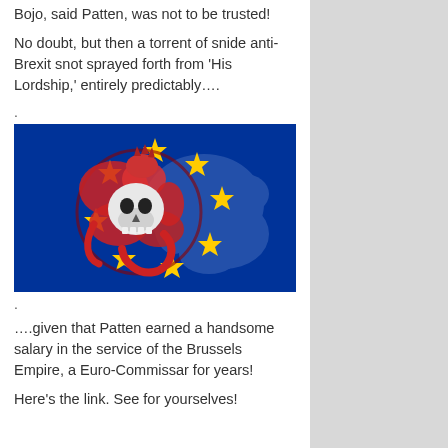Bojo, said Patten, was not to be trusted!
No doubt, but then a torrent of snide anti-Brexit snot sprayed forth from ‘His Lordship,’ entirely predictably….
.
[Figure (illustration): EU flag with yellow stars on blue background, featuring a red dragon coiled around a skull in the center, with a faded map of Europe on the right side.]
.
….given that Patten earned a handsome salary in the service of the Brussels Empire, a Euro-Commissar for years!
Here’s the link. See for yourselves!